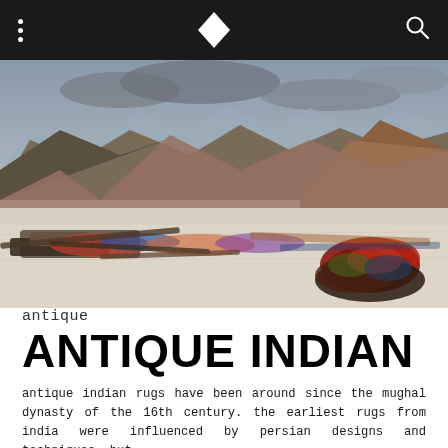antique [menu] [logo] [search]
[Figure (photo): A desert/high-altitude landscape with mountains in the background under a cloudy sky. In the foreground, antique rugs and textile pieces are laid out on a dry, cracked white salt flat. The rugs show vivid red, blue, and multicolored patterns.]
antique
ANTIQUE INDIAN
antique indian rugs have been around since the mughal dynasty of the 16th century. the earliest rugs from india were influenced by persian designs and techniques, but